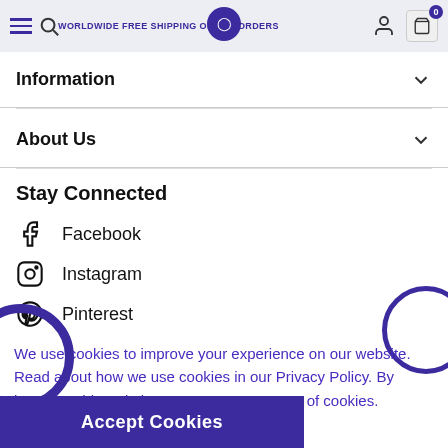WORLDWIDE FREE SHIPPING ON ALL ORDERS OVER $...
Information
About Us
Stay Connected
Facebook
Instagram
Pinterest
We use cookies to improve your experience on our website. Read about how we use cookies in our Privacy Policy. By browsing this website, you agree to our use of cookies.
Accept Cookies